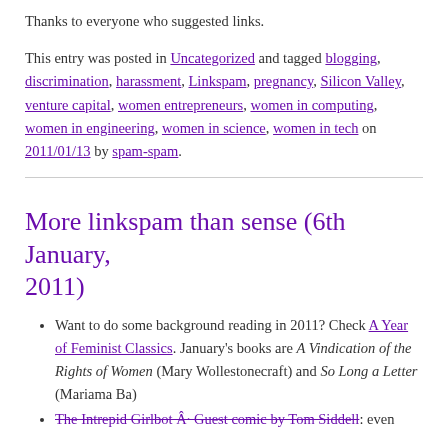Thanks to everyone who suggested links.
This entry was posted in Uncategorized and tagged blogging, discrimination, harassment, Linkspam, pregnancy, Silicon Valley, venture capital, women entrepreneurs, women in computing, women in engineering, women in science, women in tech on 2011/01/13 by spam-spam.
More linkspam than sense (6th January, 2011)
Want to do some background reading in 2011? Check A Year of Feminist Classics. January's books are A Vindication of the Rights of Women (Mary Wollestonecraft) and So Long a Letter (Mariama Ba)
The Intrepid Girlbot Â· Guest comic by Tom Siddell: even